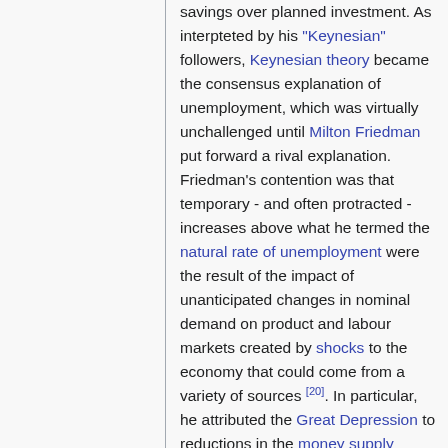savings over planned investment. As interpteted by his "Keynesian" followers, Keynesian theory became the consensus explanation of unemployment, which was virtually unchallenged until Milton Friedman put forward a rival explanation. Friedman's contention was that temporary - and often protracted - increases above what he termed the natural rate of unemployment were the result of the impact of unanticipated changes in nominal demand on product and labour markets created by shocks to the economy that could come from a variety of sources [20]. In particular, he attributed the Great Depression to reductions in the money supply resulting from policy mistakes by the Federal Reserve Bank [21].